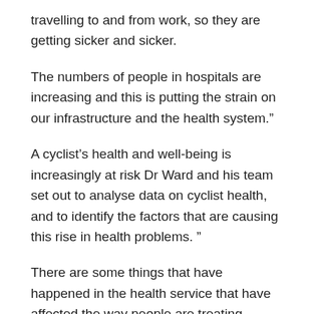travelling to and from work, so they are getting sicker and sicker.
The numbers of people in hospitals are increasing and this is putting the strain on our infrastructure and the health system.”
A cyclist’s health and well-being is increasingly at risk Dr Ward and his team set out to analyse data on cyclist health, and to identify the factors that are causing this rise in health problems. ”
There are some things that have happened in the health service that have affected the way people are treating patients, but it is clear that